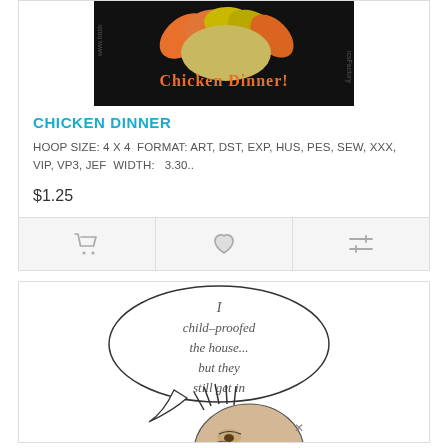[Figure (photo): Embroidery design on black background showing a chicken/turkey with orange and yellow feathers with text 'Chicken Dinner!']
CHICKEN DINNER
HOOP SIZE: 4 X 4 FORMAT: ART, DST, EXP, HUS, PES, SEW, XXX, VIP, VP3, JEF WIDTH:   3.30..
$1.25
[Figure (illustration): Cartoon illustration of a grumpy/stressed man with a speech bubble saying 'I child-proofed the house... but they still get in']